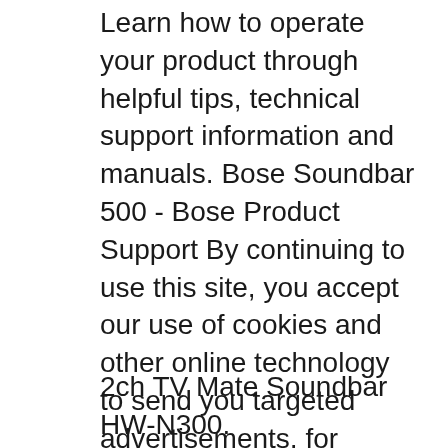Learn how to operate your product through helpful tips, technical support information and manuals. Bose Soundbar 500 - Bose Product Support By continuing to use this site, you accept our use of cookies and other online technology to send you targeted advertisements, for social media, for data analytics and to better understand your use of our website. 10/03/2018B B· This one is of the Samsung Soundbar HW M 550. I review the Samsung Soundbar M 500 and Sub-woofer set. This soundbar from Samsung has a total power output of 340 w. I go over this soundbar and the
2ch TV Mate Soundbar HW-N300.